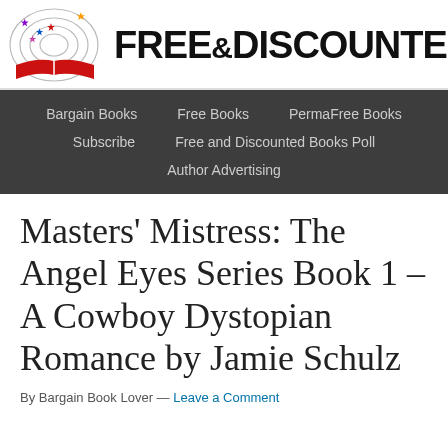[Figure (logo): Free & Discounted Books website logo: colorful stars and an open book with concentric arcs, next to bold text FREE&DISCOUNTED BOO (truncated)]
Bargain Books   Free Books   PermaFree Books   Subscribe   Free and Discounted Books Poll   Author Advertising
Masters' Mistress: The Angel Eyes Series Book 1 – A Cowboy Dystopian Romance by Jamie Schulz
By Bargain Book Lover — Leave a Comment